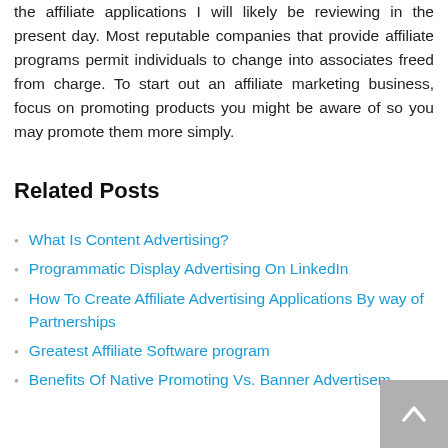the affiliate applications I will likely be reviewing in the present day. Most reputable companies that provide affiliate programs permit individuals to change into associates freed from charge. To start out an affiliate marketing business, focus on promoting products you might be aware of so you may promote them more simply.
Related Posts
What Is Content Advertising?
Programmatic Display Advertising On LinkedIn
How To Create Affiliate Advertising Applications By way of Partnerships
Greatest Affiliate Software program
Benefits Of Native Promoting Vs. Banner Advertisem…